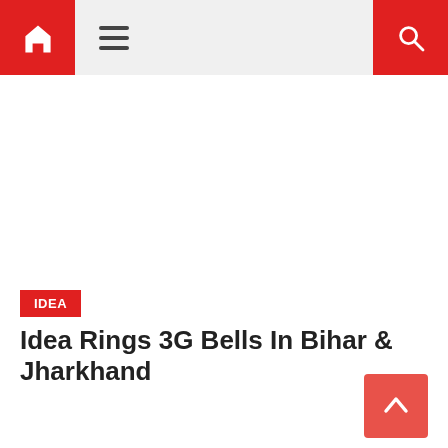Home | Menu | Search
IDEA
Idea Rings 3G Bells In Bihar & Jharkhand